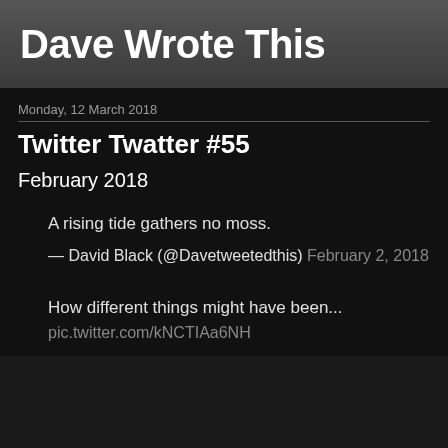Dave Wrote This
Monday, 12 March 2018
Twitter Twatter #55
February 2018
A rising tide gathers no moss.
— David Black (@Davetweetedthis) February 2, 2018
How different things might have been...
pic.twitter.com/kNCTIAa6NH